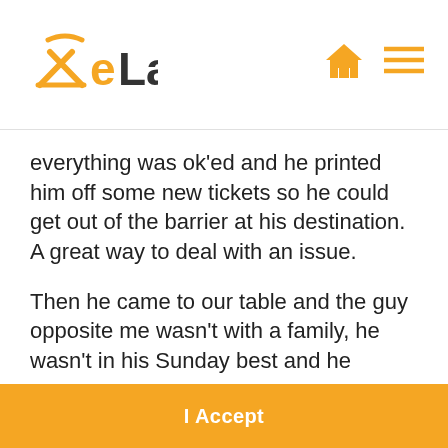xeLamb
everything was ok'ed and he printed him off some new tickets so he could get out of the barrier at his destination. A great way to deal with an issue.
Then he came to our table and the guy opposite me wasn't with a family, he wasn't in his Sunday best and he wasn't as well spoke as the father that just had a problem. He gave his ticket to the conductor and then he mentioned he'd been told to get on the wrong train at destination 1 and left his bag on there
I Accept